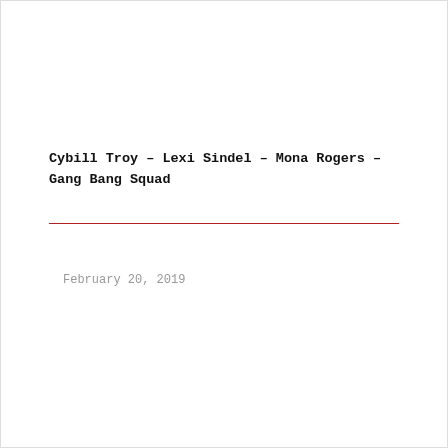Cybill Troy – Lexi Sindel – Mona Rogers – Gang Bang Squad
February 20, 2019